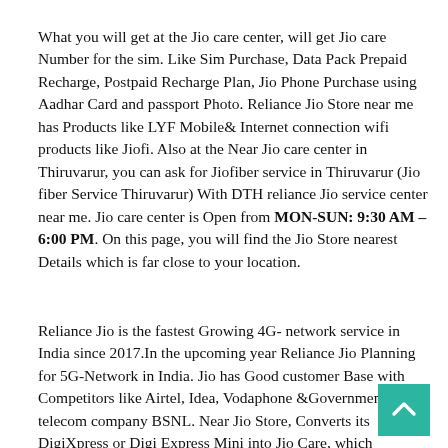What you will get at the Jio care center, will get Jio care Number for the sim. Like Sim Purchase, Data Pack Prepaid Recharge, Postpaid Recharge Plan, Jio Phone Purchase using Aadhar Card and passport Photo. Reliance Jio Store near me has Products like LYF Mobile& Internet connection wifi products like Jiofi. Also at the Near Jio care center in Thiruvarur, you can ask for Jiofiber service in Thiruvarur (Jio fiber Service Thiruvarur) With DTH reliance Jio service center near me. Jio care center is Open from MON-SUN: 9:30 AM – 6:00 PM. On this page, you will find the Jio Store nearest Details which is far close to your location.
Reliance Jio is the fastest Growing 4G- network service in India since 2017.In the upcoming year Reliance Jio Planning for 5G-Network in India. Jio has Good customer Base with Competitors like Airtel, Idea, Vodaphone &Government under telecom company BSNL. Near Jio Store, Converts its DigiXpress or Digi Express Mini into Jio Care, which